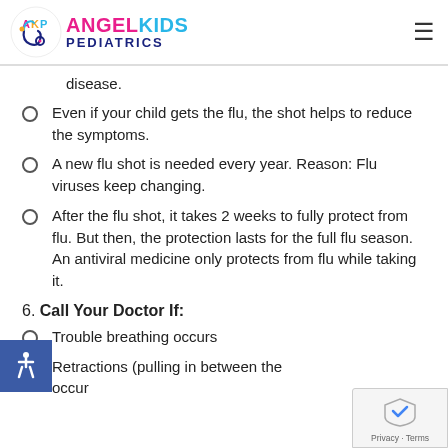Angel Kids Pediatrics
disease.
Even if your child gets the flu, the shot helps to reduce the symptoms.
A new flu shot is needed every year. Reason: Flu viruses keep changing.
After the flu shot, it takes 2 weeks to fully protect from flu. But then, the protection lasts for the full flu season. An antiviral medicine only protects from flu while taking it.
6. Call Your Doctor If:
Trouble breathing occurs
Retractions (pulling in between the occur